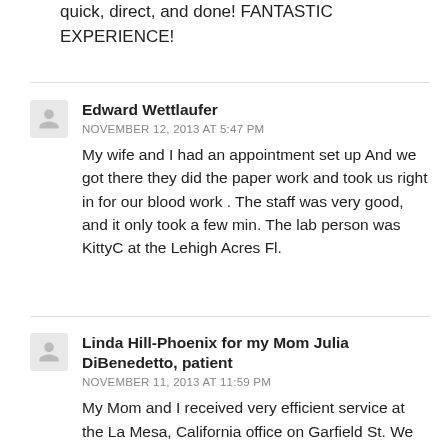quick, direct, and done! FANTASTIC EXPERIENCE!
Edward Wettlaufer
NOVEMBER 12, 2013 AT 5:47 PM
My wife and I had an appointment set up And we got there they did the paper work and took us right in for our blood work . The staff was very good, and it only took a few min. The lab person was KittyC at the Lehigh Acres Fl.
Linda Hill-Phoenix for my Mom Julia DiBenedetto, patient
NOVEMBER 11, 2013 AT 11:59 PM
My Mom and I received very efficient service at the La Mesa, California office on Garfield St. We were very pleased with the courtesy and professionalism